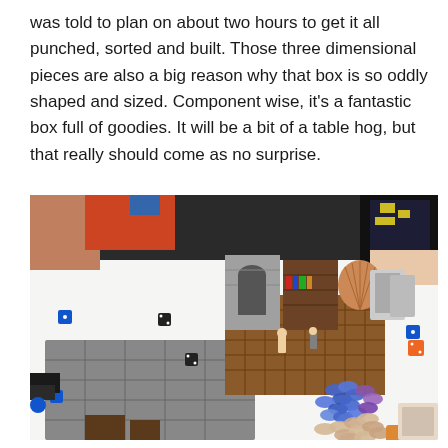was told to plan on about two hours to get it all punched, sorted and built. Those three dimensional pieces are also a big reason why that box is so oddly shaped and sized. Component wise, it's a fantastic box full of goodies. It will be a bit of a table hog, but that really should come as no surprise.
[Figure (photo): A tabletop board game in progress showing 3D dungeon terrain pieces including stone walls, archways, and floor tiles on a white table. Miniature figures are placed on a brown grid map. Various game components including blue, orange, and purple tokens, cards, and dice are scattered around the table. Players seated around the table are partially visible.]